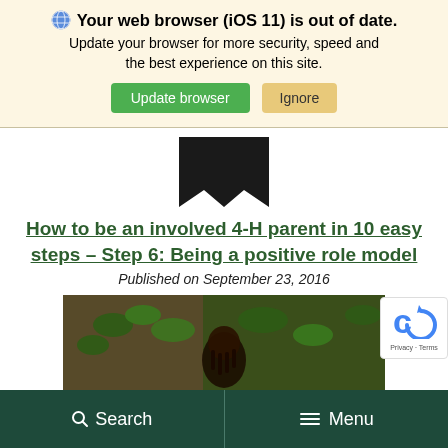[Figure (screenshot): Browser update notification banner with globe icon, bold warning text, and two buttons: green 'Update browser' and tan 'Ignore']
[Figure (logo): 4-H clover logo ribbon/bookmark shape in black]
How to be an involved 4-H parent in 10 easy steps – Step 6: Being a positive role model
Published on September 23, 2016
[Figure (photo): Outdoor photo showing a person with dark braided hair against a background of green ivy on a brick wall]
Search   Menu